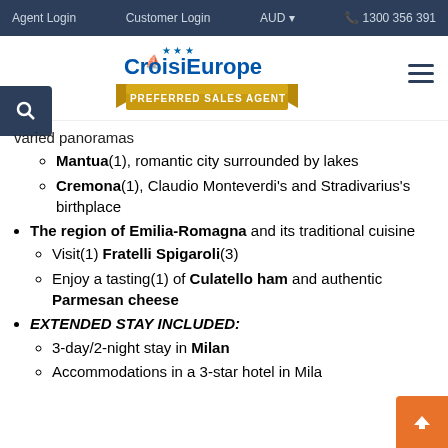Agent Login  Customer Login  AUD  1300 356 391
[Figure (logo): CroisiEurope Preferred Sales Agent logo with gold ribbon banner]
varied panoramas
Mantua(1), romantic city surrounded by lakes
Cremona(1), Claudio Monteverdi's and Stradivarius's birthplace
The region of Emilia-Romagna and its traditional cuisine
Visit(1) Fratelli Spigaroli(3)
Enjoy a tasting(1) of Culatello ham and authentic Parmesan cheese
EXTENDED STAY INCLUDED:
3-day/2-night stay in Milan
Accommodations in a 3-star hotel in Milan or Lake Maggiore